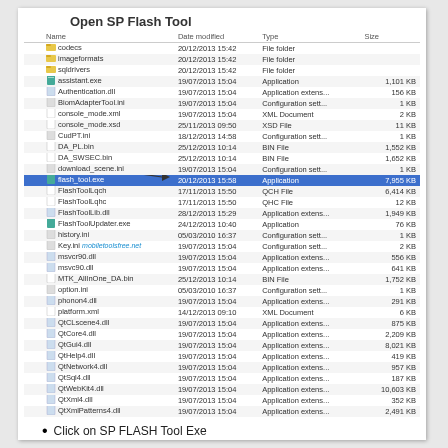Open SP Flash Tool
| Name | Date modified | Type | Size |
| --- | --- | --- | --- |
| codecs | 20/12/2013 15:42 | File folder |  |
| imageformats | 20/12/2013 15:42 | File folder |  |
| sqldrivers | 20/12/2013 15:42 | File folder |  |
| assistant.exe | 19/07/2013 15:04 | Application | 1,101 KB |
| Authentication.dll | 19/07/2013 15:04 | Application extens... | 156 KB |
| BiomAdapterTool.ini | 19/07/2013 15:04 | Configuration sett... | 1 KB |
| console_mode.xml | 19/07/2013 15:04 | XML Document | 2 KB |
| console_mode.xsd | 25/11/2013 09:50 | XSD File | 11 KB |
| CudPT.ini | 18/12/2013 14:58 | Configuration sett... | 1 KB |
| DA_PL.bin | 25/12/2013 10:14 | BIN File | 1,552 KB |
| DA_SWSEC.bin | 25/12/2013 10:14 | BIN File | 1,652 KB |
| download_scene.ini | 19/07/2013 15:04 | Configuration sett... | 1 KB |
| flash_tool.exe | 20/12/2013 15:58 | Application | 7,955 KB |
| FlashToolLqch | 17/11/2013 15:50 | QCH File | 6,414 KB |
| FlashToolLqhc | 17/11/2013 15:50 | QHC File | 12 KB |
| FlashToolLib.dll | 28/12/2013 15:29 | Application extens... | 1,949 KB |
| FlashToolUpdater.exe | 24/12/2013 10:40 | Application | 76 KB |
| history.ini | 05/03/2010 16:37 | Configuration sett... | 1 KB |
| Key.ini | 19/07/2013 15:04 | Configuration sett... | 2 KB |
| msvcr90.dll | 19/07/2013 15:04 | Application extens... | 556 KB |
| msvc90.dll | 19/07/2013 15:04 | Application extens... | 641 KB |
| MTK_AllInOne_DA.bin | 25/12/2013 10:14 | BIN File | 1,752 KB |
| option.ini | 05/03/2010 16:37 | Configuration sett... | 1 KB |
| phonon4.dll | 19/07/2013 15:04 | Application extens... | 291 KB |
| platform.xml | 14/12/2013 09:10 | XML Document | 6 KB |
| QtCLscene4.dll | 19/07/2013 15:04 | Application extens... | 875 KB |
| QtCore4.dll | 19/07/2013 15:04 | Application extens... | 2,209 KB |
| QtGui4.dll | 19/07/2013 15:04 | Application extens... | 8,021 KB |
| QtHelp4.dll | 19/07/2013 15:04 | Application extens... | 419 KB |
| QtNetwork4.dll | 19/07/2013 15:04 | Application extens... | 957 KB |
| QtSql4.dll | 19/07/2013 15:04 | Application extens... | 187 KB |
| QtWebKit4.dll | 19/07/2013 15:04 | Application extens... | 10,603 KB |
| QtXml4.dll | 19/07/2013 15:04 | Application extens... | 352 KB |
| QtXmlPatterns4.dll | 19/07/2013 15:04 | Application extens... | 2,491 KB |
Click on SP FLASH Tool Exe
[Figure (screenshot): Bottom icons showing tool images]